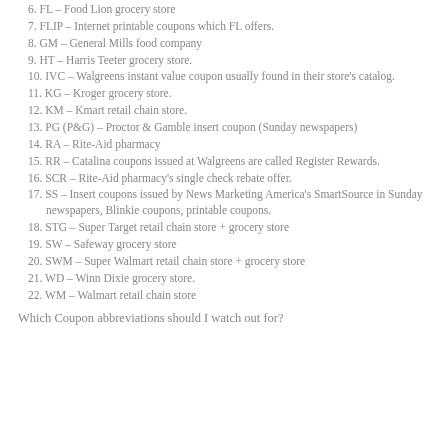6. FL – Food Lion grocery store
7. FLIP – Internet printable coupons which FL offers.
8. GM – General Mills food company
9. HT – Harris Teeter grocery store.
10. IVC – Walgreens instant value coupon usually found in their store's catalog.
11. KG – Kroger grocery store.
12. KM – Kmart retail chain store.
13. PG (P&G) – Proctor & Gamble insert coupon (Sunday newspapers)
14. RA – Rite-Aid pharmacy
15. RR – Catalina coupons issued at Walgreens are called Register Rewards.
16. SCR – Rite-Aid pharmacy's single check rebate offer.
17. SS – Insert coupons issued by News Marketing America's SmartSource in Sunday newspapers, Blinkie coupons, printable coupons.
18. STG – Super Target retail chain store + grocery store
19. SW – Safeway grocery store
20. SWM – Super Walmart retail chain store + grocery store
21. WD – Winn Dixie grocery store.
22. WM – Walmart retail chain store
Which Coupon abbreviations should I watch out for?